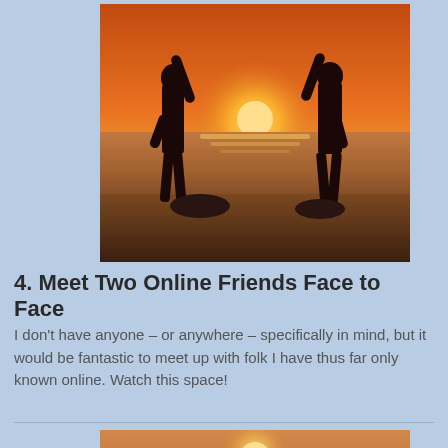[Figure (photo): Two people silhouetted against a sunset on a beach, giving each other a high five with the sun behind them and ocean waves visible in the background.]
4. Meet Two Online Friends Face to Face
I don't have anyone – or anywhere – specifically in mind, but it would be fantastic to meet up with folk I have thus far only known online. Watch this space!
[Figure (photo): Partial view of a sunset over the ocean with golden light reflecting on the water.]